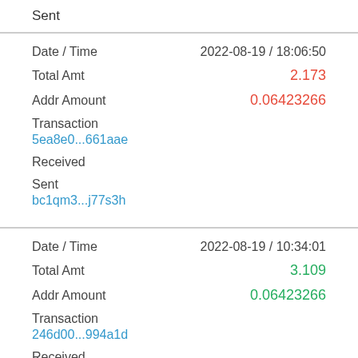Sent
| Date / Time | 2022-08-19 / 18:06:50 |
| Total Amt | 2.173 |
| Addr Amount | 0.06423266 |
| Transaction | 5ea8e0...661aae |
| Received |  |
| Sent | bc1qm3...j77s3h |
| Date / Time | 2022-08-19 / 10:34:01 |
| Total Amt | 3.109 |
| Addr Amount | 0.06423266 |
| Transaction | 246d00...994a1d |
| Received |  |